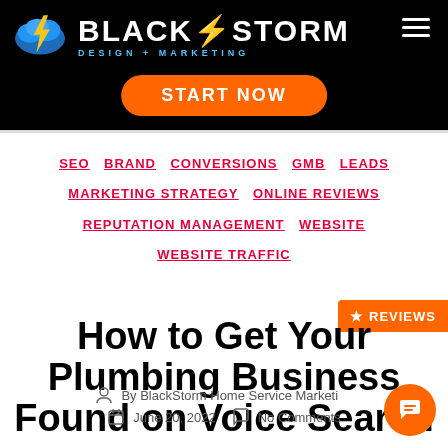[Figure (logo): BlackStorm Design + Marketing logo with lightning bolt cloud icon on black header bar, orange START NOW button]
SEO  BRAND  CONVERSIONS  GMB  LEADS  MARKETING STRATEGY  ONLINE REVIEWS  REPUTATION MANAGEMENT  WEBSITE  WEBSITE TRAFFIC
[Figure (other): Orange REVIEWS badge with star icon on right side]
How to Get Your Plumbing Business Found on Voice Search
By BlackStorm Home Service Marketing
June 20, 2022   No Comments